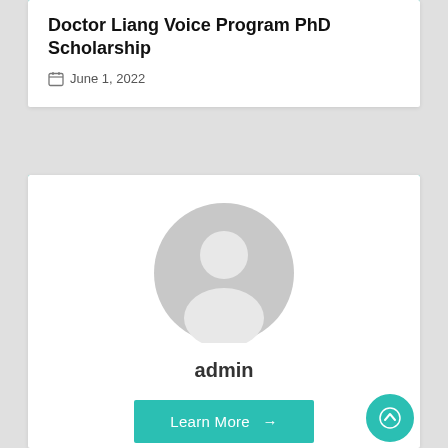Doctor Liang Voice Program PhD Scholarship
June 1, 2022
[Figure (illustration): Generic user avatar icon — grey silhouette of a person inside a grey circle]
admin
Learn More →